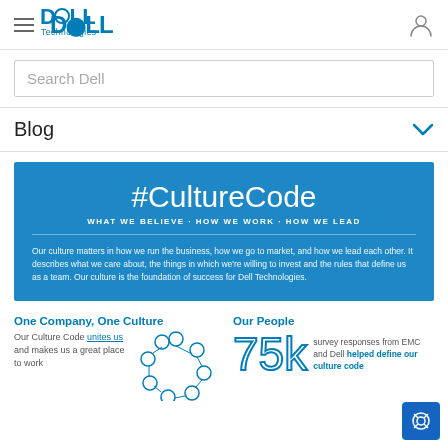Dell Technologies navigation header with hamburger menu and user icon
Search Dell
Blog
[Figure (infographic): #CultureCode banner. WHAT WE BELIEVE • HOW WE WORK • HOW WE LEAD. Our culture matters in how we run the business, how we go to market, and how we lead each other. It describes what we care about, the things in which we're willing to invest and the rules that define us as a team. Our culture is the foundation of success for Dell Technologies.]
One Company, One Culture
Our Culture Code unites us and makes us a great place to work
[Figure (illustration): Circle of connected circles diagram representing company unity]
Our People
75k survey responses from EMC and Dell helped define our culture code